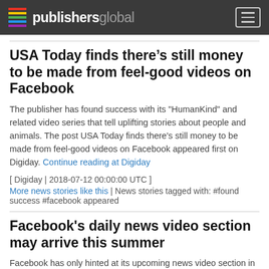publishersglobal
USA Today finds there’s still money to be made from feel-good videos on Facebook
The publisher has found success with its "HumanKind" and related video series that tell uplifting stories about people and animals. The post USA Today finds there's still money to be made from feel-good videos on Facebook appeared first on Digiday. Continue reading at Digiday
[ Digiday | 2018-07-12 00:00:00 UTC ]
More news stories like this | News stories tagged with: #found success #facebook appeared
Facebook's daily news video section may arrive this summer
Facebook has only hinted at its upcoming news video section in Watch,